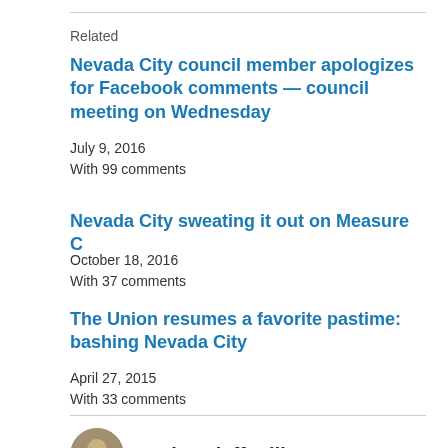Related
Nevada City council member apologizes for Facebook comments — council meeting on Wednesday
July 9, 2016
With 99 comments
Nevada City sweating it out on Measure C
October 18, 2016
With 37 comments
The Union resumes a favorite pastime: bashing Nevada City
April 27, 2015
With 33 comments
Author: jeffpelline